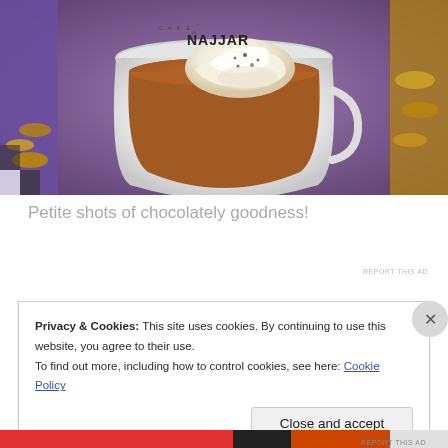[Figure (photo): A white ceramic mug branded 'CAFE NAJJAR' filled with a chocolate/coffee drink topped with whipped cream and sprinkles, surrounded by decorative golden coins and purple beaded ornaments on a checkered surface.]
Petite shots of chocolately goodness!
REPORT THIS AD
Privacy & Cookies: This site uses cookies. By continuing to use this website, you agree to their use.
To find out more, including how to control cookies, see here: Cookie Policy
Close and accept
REPORT THIS AD